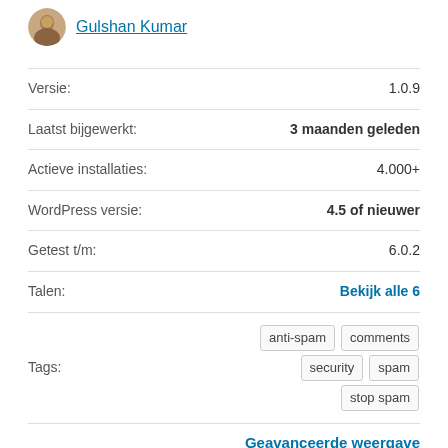Gulshan Kumar
| Label | Value |
| --- | --- |
| Versie: | 1.0.9 |
| Laatst bijgewerkt: | 3 maanden geleden |
| Actieve installaties: | 4.000+ |
| WordPress versie: | 4.5 of nieuwer |
| Getest t/m: | 6.0.2 |
| Talen: | Bekijk alle 6 |
| Tags: | anti-spam comments security spam stop spam |
Geavanceerde weergave
Meer details